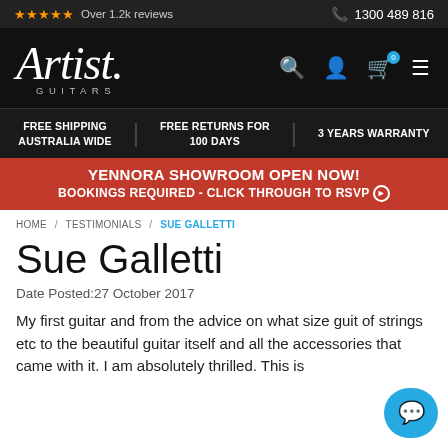★★★★★ Over 1.2k reviews   📞 1300 489 816
[Figure (logo): Artist Guitars logo in white script font on black background, with search, account, cart (0), and menu icons]
FREE SHIPPING AUSTRALIA WIDE   FREE RETURNS FOR 100 DAYS   3 YEARS WARRANTY
YENNORA SHOWROOM OPEN NOW!
BOOKINGS REQUIRED - CLICK THROUGH TO RSVP ⊙
HOME / TESTIMONIALS / SUE GALLETTI
Sue Galletti
Date Posted:27 October 2017
My first guitar and from the advice on what size guit of strings etc to the beautiful guitar itself and all the accessories that came with it. I am absolutely thrilled. This is